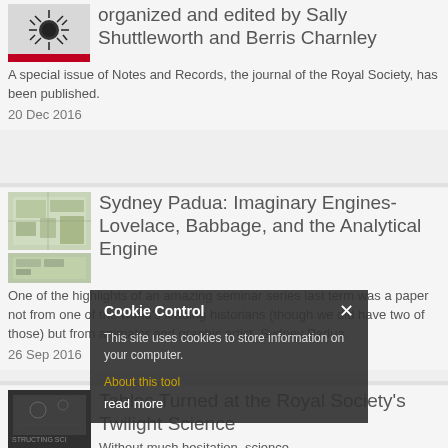organized and edited by Sally Shuttleworth and Berris Charnley
A special issue of Notes and Records, the journal of the Royal Society, has been published.
20 Dec 2016
Sydney Padua: Imaginary Engines- Lovelace, Babbage, and the Analytical Engine
One of the highlights of an amazing seminar series last term was a paper not from one of the world's leading historians (though we did have two of those) but from animator and graphic artist, Sydney Padua.
26 Sep 2016
Tables Turned at the Royal Society's Twilight Science
Without much hesitation, science
Cookie Control
This site uses cookies to store information on your computer.
About this tool
read more